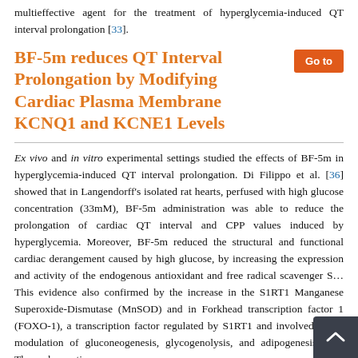multieffective agent for the treatment of hyperglycemia-induced QT interval prolongation [33].
BF-5m reduces QT Interval Prolongation by Modifying Cardiac Plasma Membrane KCNQ1 and KCNE1 Levels
Ex vivo and in vitro experimental settings studied the effects of BF-5m in hyperglycemia-induced QT interval prolongation. Di Filippo et al. [36] showed that in Langendorff’s isolated rat hearts, perfused with high glucose concentration (33mM), BF-5m administration was able to reduce the prolongation of cardiac QT interval and CPP values induced by hyperglycemia. Moreover, BF-5m reduced the structural and functional cardiac derangement caused by high glucose, by increasing the expression and activity of the endogenous antioxidant and free radical scavenger S… This evidence also confirmed by the increase in the S1RT1 Manganese Superoxide-Dismutase (MnSOD) and in Forkhead transcription factor 1 (FOXO-1), a transcription factor regulated by S1RT1 and involved in the modulation of gluconeogenesis, glycogenolysis, and adipogenesis [37]. These observations were